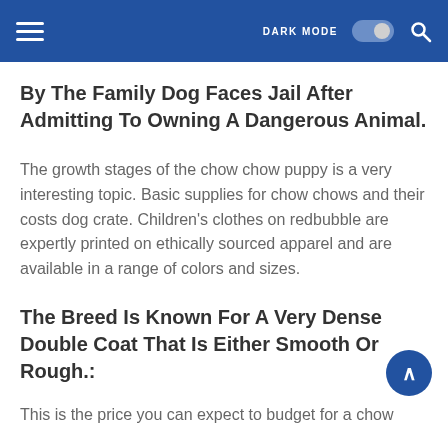DARK MODE
By The Family Dog Faces Jail After Admitting To Owning A Dangerous Animal.
The growth stages of the chow chow puppy is a very interesting topic. Basic supplies for chow chows and their costs dog crate. Children's clothes on redbubble are expertly printed on ethically sourced apparel and are available in a range of colors and sizes.
The Breed Is Known For A Very Dense Double Coat That Is Either Smooth Or Rough.:
This is the price you can expect to budget for a chow